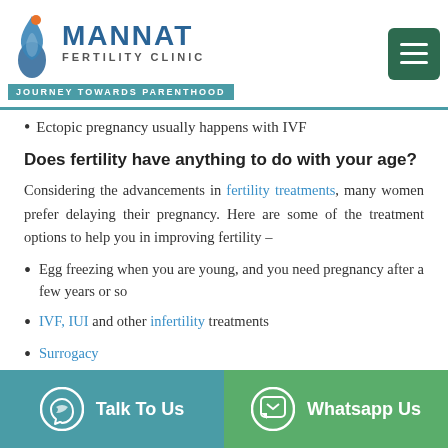MANNAT FERTILITY CLINIC — JOURNEY TOWARDS PARENTHOOD
Ectopic pregnancy usually happens with IVF
Does fertility have anything to do with your age?
Considering the advancements in fertility treatments, many women prefer delaying their pregnancy. Here are some of the treatment options to help you in improving fertility –
Egg freezing when you are young, and you need pregnancy after a few years or so
IVF, IUI and other infertility treatments
Surrogacy
Sperm donors
Talk To Us | Whatsapp Us